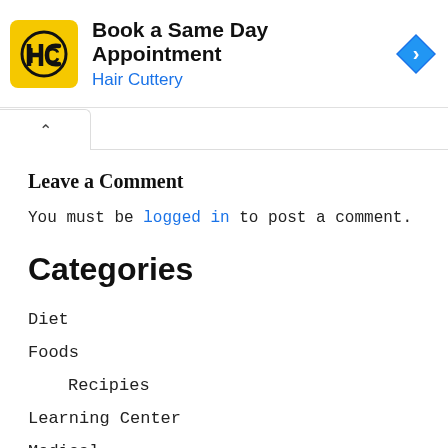[Figure (screenshot): Advertisement banner for Hair Cuttery: yellow HC logo, text 'Book a Same Day Appointment' and 'Hair Cuttery', blue diamond arrow icon on the right]
Leave a Comment
You must be logged in to post a comment.
Categories
Diet
Foods
Recipies
Learning Center
Medical